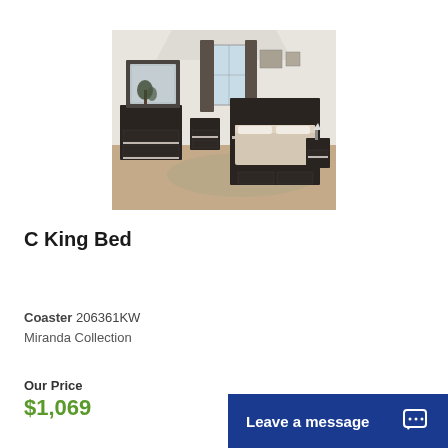[Figure (photo): Bedroom furniture set with dark wood finish including a platform bed with storage drawers, large dresser with mirror, chest, and nightstand arranged in a styled room setting]
C King Bed
Coaster 206361KW
Miranda Collection
Our Price $1,069
Leave a message